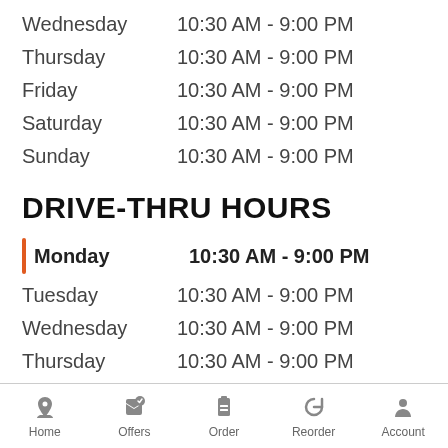Wednesday   10:30 AM - 9:00 PM
Thursday   10:30 AM - 9:00 PM
Friday   10:30 AM - 9:00 PM
Saturday   10:30 AM - 9:00 PM
Sunday   10:30 AM - 9:00 PM
DRIVE-THRU HOURS
Monday   10:30 AM - 9:00 PM
Tuesday   10:30 AM - 9:00 PM
Wednesday   10:30 AM - 9:00 PM
Thursday   10:30 AM - 9:00 PM
Friday   10:30 AM - 9:00 PM
Saturday   10:30 AM - 9:00 PM
Sunday   10:30 AM - 9:00 PM
Home   Offers   Order   Reorder   Account